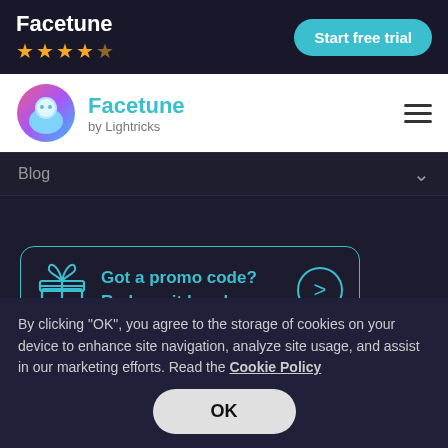Facetune ★★★★☆
Start free trial
[Figure (logo): Facetune app logo — circular icon with gradient pink/blue face silhouette]
Facetune by Lightricks
Blog
[Figure (infographic): Promo code box with gift icon: 'Got a promo code? Redeem it here!' with teal arrow circle button]
By clicking "OK", you agree to the storage of cookies on your device to enhance site navigation, analyze site usage, and assist in our marketing efforts. Read the Cookie Policy
OK